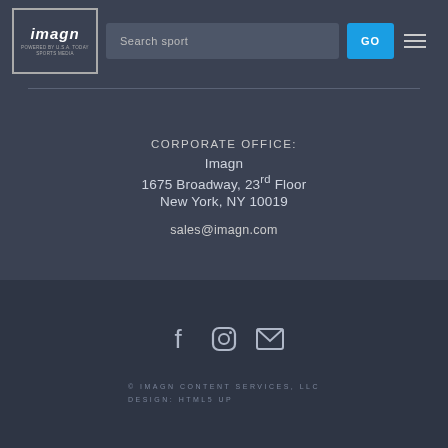imagn | Search sport | GO
CORPORATE OFFICE:
Imagn
1675 Broadway, 23rd Floor
New York, NY 10019

sales@imagn.com
[Figure (infographic): Social media icons: Facebook, Instagram, Email/envelope]
© IMAGN CONTENT SERVICES, LLC
DESIGN: HTML5 UP